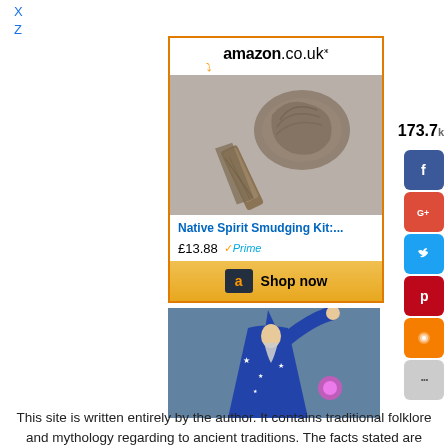X
Z
[Figure (screenshot): Amazon.co.uk advertisement for Native Spirit Smudging Kit, priced at £13.88 with Prime, showing a Shop now button]
[Figure (illustration): Illustration of a wizard in blue robes and hat with stars, raising one arm]
[Figure (infographic): Social share buttons: Facebook, Google+, Twitter, Pinterest, Blogger, More. Share count showing 173.7]
This site is written entirely by the author. It contains traditional folklore and mythology regarding to ancient traditions. The facts stated are